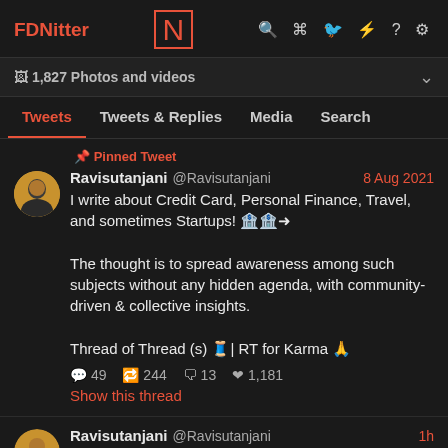FDNitter | N | search rss twitter link ? settings icons
1,827 Photos and videos
Tweets | Tweets & Replies | Media | Search
📌 Pinned Tweet
Ravisutanjani @Ravisutanjani 8 Aug 2021
I write about Credit Card, Personal Finance, Travel, and sometimes Startups! 🏦🏦➜

The thought is to spread awareness among such subjects without any hidden agenda, with community-driven & collective insights.

Thread of Thread (s) 🧵| RT for Karma 🙏
💬 49  🔁 244  🗨 13  ❤ 1,181
Show this thread
Ravisutanjani @Ravisutanjani 1h
India's GDP grows at 13.5% in Q1-22 🎉🎉

We have outperformed US, UK, China and many other